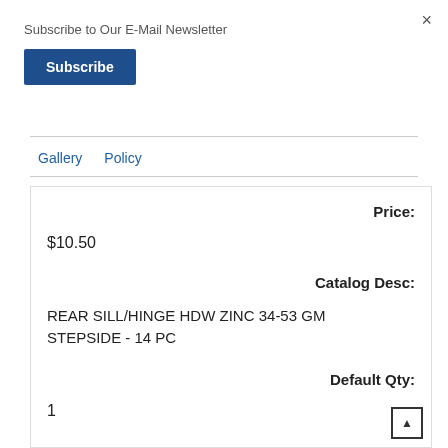×
Subscribe to Our E-Mail Newsletter
Subscribe
Gallery   Policy
Price:
$10.50
Catalog Desc:
REAR SILL/HINGE HDW ZINC 34-53 GM STEPSIDE - 14 PC
Default Qty:
1